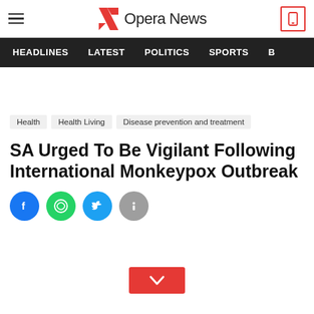Opera News
HEADLINES  LATEST  POLITICS  SPORTS
Health  Health Living  Disease prevention and treatment
SA Urged To Be Vigilant Following International Monkeypox Outbreak
[Figure (other): Social media share icons: Facebook, WhatsApp, Twitter, Info]
[Figure (other): Red scroll-down button with chevron arrow]